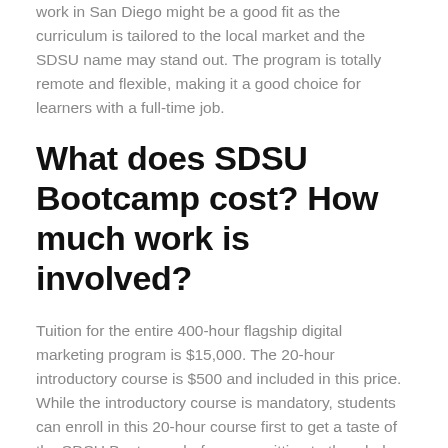work in San Diego might be a good fit as the curriculum is tailored to the local market and the SDSU name may stand out. The program is totally remote and flexible, making it a good choice for learners with a full-time job.
What does SDSU Bootcamp cost? How much work is involved?
Tuition for the entire 400-hour flagship digital marketing program is $15,000. The 20-hour introductory course is $500 and included in this price. While the introductory course is mandatory, students can enroll in this 20-hour course first to get a taste of the SDSU Bootcamp before committing to the whole program.
Although students still have to fill out an application form and speak to an admissions advisor, the program does